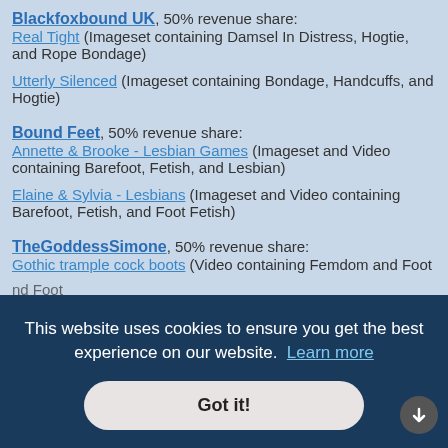Blackfoxbound UK, 50% revenue share: Real Tight (Imageset containing Damsel In Distress, Hogtie, and Rope Bondage)
Utterly Silenced (Imageset containing Bondage, Handcuffs, and Hogtie)
Bound Feet, 50% revenue share: Annette & Brooke - Lesbian Games (Imageset and Video containing Barefoot, Fetish, and Lesbian)
Elaine & Sylvia - Lesbians (Imageset and Video containing Barefoot, Fetish, and Foot Fetish)
TheGoddessSimone, 50% revenue share: Gothic trample cock boots (Video containing Femdom and Foot ...nd Foot ...d Foot ...vefetish, and Smoking)
This website uses cookies to ensure you get the best experience on our website. Learn more
Got it!